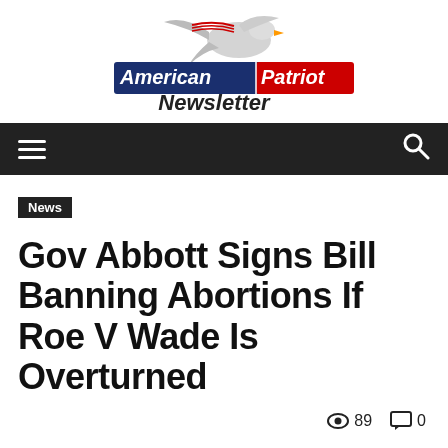[Figure (logo): American Patriot Newsletter logo with eagle graphic, navy and red banner text]
Navigation bar with hamburger menu and search icon
News
Gov Abbott Signs Bill Banning Abortions If Roe V Wade Is Overturned
89 views, 0 comments